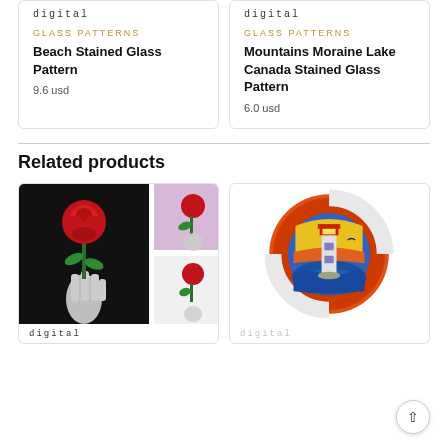[Figure (illustration): digital logo top-left product card]
GLASS PATTERNS
Beach Stained Glass Pattern
9.6 usd
[Figure (illustration): digital logo top-right product card]
GLASS PATTERNS
Mountains Moraine Lake Canada Stained Glass Pattern
6.0 usd
Related products
[Figure (illustration): Rose stained glass pattern - skeleton hand holding a red rose, with two smaller reference images]
digital
[Figure (illustration): Lighthouse stained glass pattern - circular design with colorful lighthouse scene in red, orange, blue and yellow]
digital